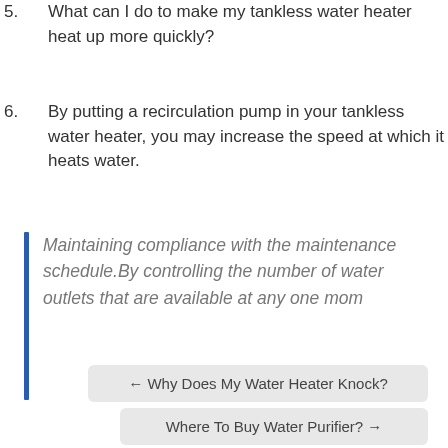5. What can I do to make my tankless water heater heat up more quickly?
6. By putting a recirculation pump in your tankless water heater, you may increase the speed at which it heats water.
Maintaining compliance with the maintenance schedule.By controlling the number of water outlets that are available at any one mom
← Why Does My Water Heater Knock?
Where To Buy Water Purifier? →